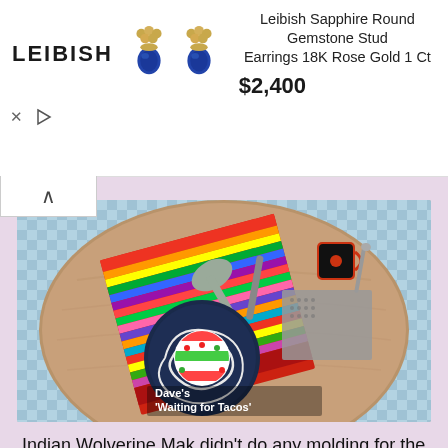[Figure (screenshot): Ad banner for Leibish Sapphire Round Gemstone Stud Earrings 18K Rose Gold 1 Ct, priced at $2,400, showing the Leibish logo, two sapphire stud earrings in rose gold, product title and price, with X close and play controls.]
[Figure (photo): Overhead photo of a decorated cookie labeled Dave's 'Waiting for Tacos' on a colorful striped cloth on a wooden round table, with utensils and a small cup visible.]
Indian Wolverine Mak didn't do any molding for the molding challenge. I don't think he understood the brief.